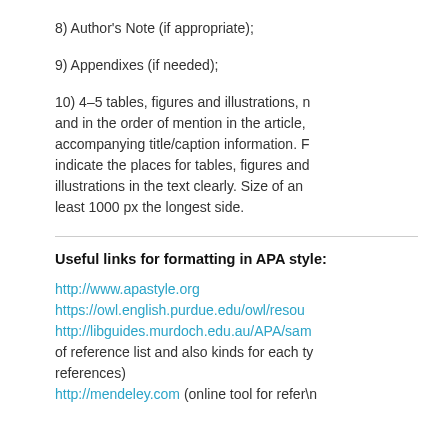8) Author's Note (if appropriate);
9) Appendixes (if needed);
10) 4–5 tables, figures and illustrations, n and in the order of mention in the article, accompanying title/caption information. F indicate the places for tables, figures and illustrations in the text clearly. Size of an least 1000 px the longest side.
Useful links for formatting in APA style:
http://www.apastyle.org
https://owl.english.purdue.edu/owl/resou
http://libguides.murdoch.edu.au/APA/sam
of reference list and also kinds for each ty
references)
http://mendeley.com (online tool for refer